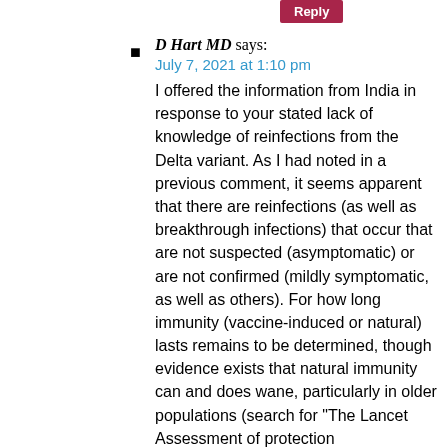D Hart MD says:
July 7, 2021 at 1:10 pm
I offered the information from India in response to your stated lack of knowledge of reinfections from the Delta variant. As I had noted in a previous comment, it seems apparent that there are reinfections (as well as breakthrough infections) that occur that are not suspected (asymptomatic) or are not confirmed (mildly symptomatic, as well as others). For how long immunity (vaccine-induced or natural) lasts remains to be determined, though evidence exists that natural immunity can and does wane, particularly in older populations (search for “The Lancet Assessment of protection against reinfection with SARS